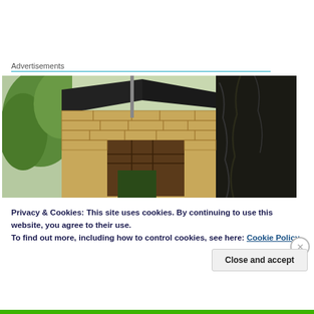Advertisements
[Figure (photo): Exterior of a stone building with a dark sloped roof, a large tree trunk on the right, and green trees visible on the left. A window with wooden frame is visible in the stone facade.]
Privacy & Cookies: This site uses cookies. By continuing to use this website, you agree to their use.
To find out more, including how to control cookies, see here: Cookie Policy